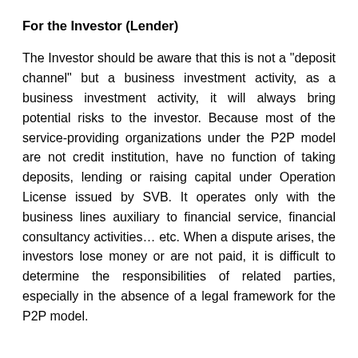For the Investor (Lender)
The Investor should be aware that this is not a "deposit channel" but a business investment activity, as a business investment activity, it will always bring potential risks to the investor. Because most of the service-providing organizations under the P2P model are not credit institution, have no function of taking deposits, lending or raising capital under Operation License issued by SVB. It operates only with the business lines auxiliary to financial service, financial consultancy activities… etc. When a dispute arises, the investors lose money or are not paid, it is difficult to determine the responsibilities of related parties, especially in the absence of a legal framework for the P2P model.